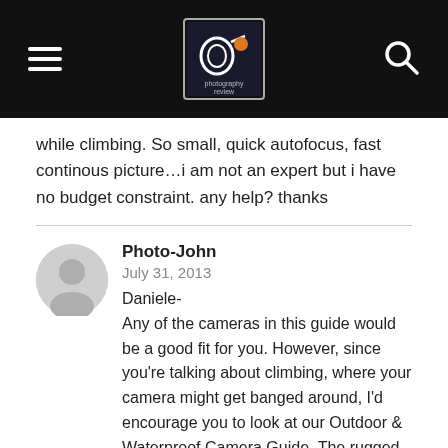Photography Review — site header with hamburger menu, logo, and search icon
while climbing. So small, quick autofocus, fast continous picture…i am not an expert but i have no budget constraint. any help? thanks
Photo-John
July 31, 2013
Daniele-
Any of the cameras in this guide would be a good fit for you. However, since you're talking about climbing, where your camera might get banged around, I'd encourage you to look at our Outdoor & Waterproof Camera Guide. The rugged, waterproof point-and-shoots don't have the long zoom that pocket superzooms do, but they can take a lot more abuse and they'll still fit in your pocket. Most of them also have fast burst rates, too. Here's a link to the Outdoor & Waterproof Camera Guide: